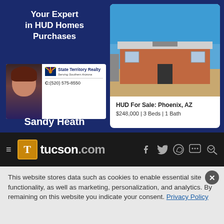Your Expert in HUD Homes Purchases
[Figure (photo): Real estate agent Sandy Heath headshot and State Territory Realty business card with phone number C:(520) 575-8550]
Sandy Heath
[Figure (photo): Photo of a brick ranch-style house for sale in Phoenix, AZ with blue sky background]
HUD For Sale: Phoenix, AZ
$248,000 | 3 Beds | 1 Bath
[Figure (screenshot): tucson.com website navigation bar with hamburger menu, T logo, site name, and social icons for Facebook, Twitter, WhatsApp, chat, and search/email]
This website stores data such as cookies to enable essential site functionality, as well as marketing, personalization, and analytics. By remaining on this website you indicate your consent. Privacy Policy